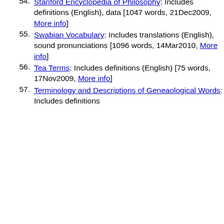Sound Alike Words: Includes definitions (English), example phrases [805 words, 30May2009, More info]
54. Stanford Encyclopedia of Philosophy: Includes definitions (English), data [1047 words, 21Dec2009, More info]
55. Swabian Vocabulary: Includes translations (English), sound pronunciations [1096 words, 14Mar2010, More info]
56. Tea Terms: Includes definitions (English) [75 words, 17Nov2009, More info]
57. Terminology and Descriptions of Geneaological Words: Includes definitions